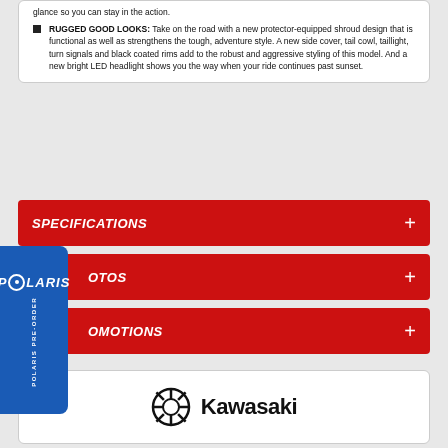glance so you can stay in the action.
RUGGED GOOD LOOKS: Take on the road with a new protector-equipped shroud design that is functional as well as strengthens the tough, adventure style. A new side cover, tail cowl, taillight, turn signals and black coated rims add to the robust and aggressive styling of this model. And a new bright LED headlight shows you the way when your ride continues past sunset.
SPECIFICATIONS
PHOTOS
PROMOTIONS
[Figure (logo): Polaris Pre-Order blue sidebar badge with Polaris logo text]
[Figure (logo): Kawasaki logo with gear/wheel icon and Kawasaki wordmark]